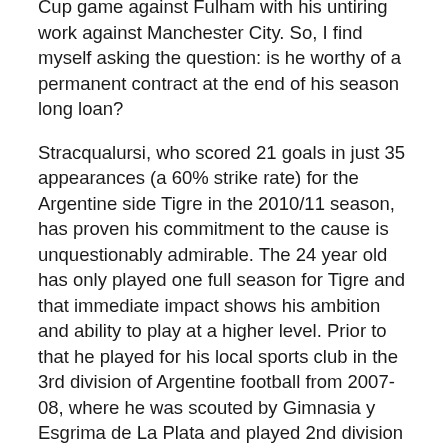Cup game against Fulham with his untiring work against Manchester City. So, I find myself asking the question: is he worthy of a permanent contract at the end of his season long loan?
Stracqualursi, who scored 21 goals in just 35 appearances (a 60% strike rate) for the Argentine side Tigre in the 2010/11 season, has proven his commitment to the cause is unquestionably admirable. The 24 year old has only played one full season for Tigre and that immediate impact shows his ambition and ability to play at a higher level. Prior to that he played for his local sports club in the 3rd division of Argentine football from 2007-08, where he was scouted by Gimnasia y Esgrima de La Plata and played 2nd division football for two seasons, before he got his break in the Argentine top division with his current club Tigre. Denis was joint top goal scorer in his first season at the club, the first ever